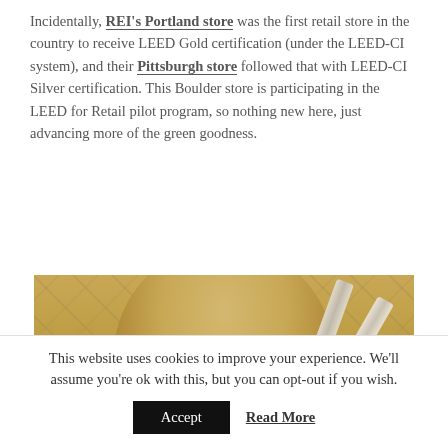Incidentally, REI's Portland store was the first retail store in the country to receive LEED Gold certification (under the LEED-CI system), and their Pittsburgh store followed that with LEED-CI Silver certification. This Boulder store is participating in the LEED for Retail pilot program, so nothing new here, just advancing more of the green goodness.
[Figure (photo): Close-up photograph of a cylindrical pendant lamp shade hanging from a wooden ceiling with track lighting rails visible in the background. The lamp emits a warm white glow from below.]
This website uses cookies to improve your experience. We'll assume you're ok with this, but you can opt-out if you wish.